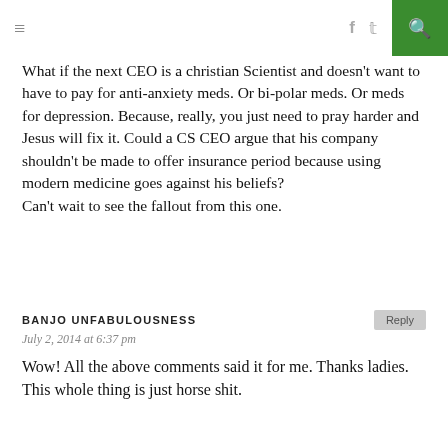≡  f  🐦  ◎  ◗  🔍
What if the next CEO is a christian Scientist and doesn't want to have to pay for anti-anxiety meds. Or bi-polar meds. Or meds for depression. Because, really, you just need to pray harder and Jesus will fix it. Could a CS CEO argue that his company shouldn't be made to offer insurance period because using modern medicine goes against his beliefs?
Can't wait to see the fallout from this one.
BANJO UNFABULOUSNESS
July 2, 2014 at 6:37 pm
Wow! All the above comments said it for me. Thanks ladies. This whole thing is just horse shit.